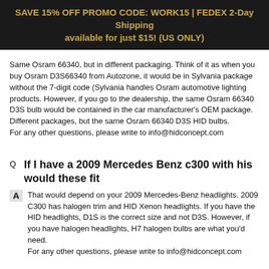SAVE 15% OFF PROMO CODE: WORK15 | FEDEX 2-Day Shipping available for just $15! (US ONLY)
Same Osram 66340, but in different packaging. Think of it as when you buy Osram D3S66340 from Autozone, it would be in Sylvania package without the 7-digit code (Sylvania handles Osram automotive lighting products. However, if you go to the dealership, the same Osram 66340 D3S bulb would be contained in the car manufacturer's OEM package.
Different packages, but the same Osram 66340 D3S HID bulbs.
For any other questions, please write to info@hidconcept.com
If I have a 2009 Mercedes Benz c300 with his would these fit
That would depend on your 2009 Mercedes-Benz headlights. 2009 C300 has halogen trim and HID Xenon headlights. If you have the HID headlights, D1S is the correct size and not D3S. However, if you have halogen headlights, H7 halogen bulbs are what you'd need.
For any other questions, please write to info@hidconcept.com
Will these fit my 2018 Chrysler 300S? They have hid I need to replace them
If you have the HID Xenon headlights for your 2018 Chrysler 300S, D3S is the